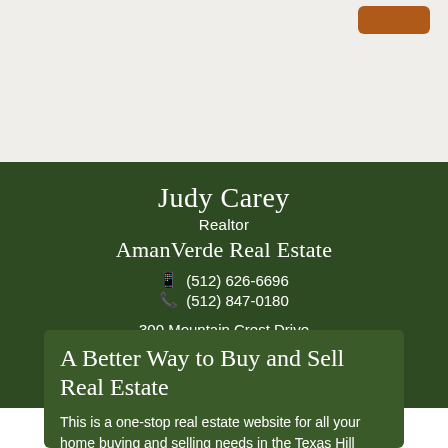[Figure (other): Light beige top bar with a small orange/brown button in the upper right corner]
Judy Carey
Realtor
AmanVerde Real Estate
📱 (512) 626-6696
📞 (512) 847-0180
300 Mountain Crest Drive
Wimberley, TX 78676
License #: 0515845
Email Me
A Better Way to Buy and Sell Real Estate
This is a one-stop real estate website for all your home buying and selling needs in the Texas Hill Country region, including Austin, Blanco, Buda, Dripping Springs, Kyle, New Braunfels